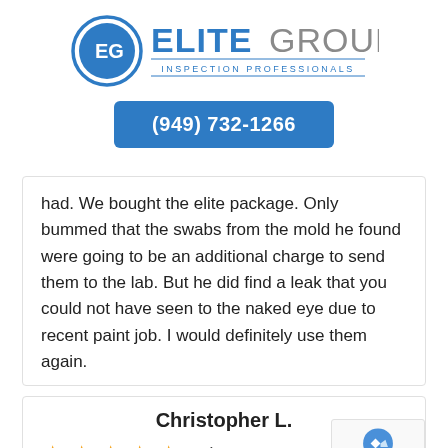[Figure (logo): Elite Group Inspection Professionals logo with blue circular EG emblem and stylized text]
(949) 732-1266
had. We bought the elite package. Only bummed that the swabs from the mold he found were going to be an additional charge to send them to the lab. But he did find a leak that you could not have seen to the naked eye due to recent paint job. I would definitely use them again.
Christopher L.
5 / 5